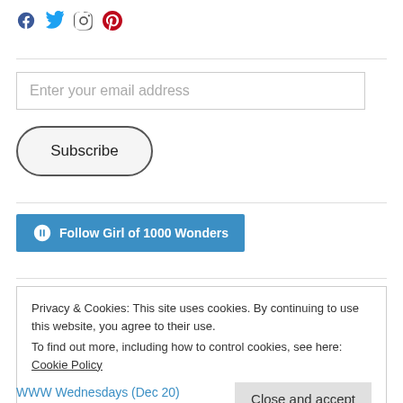[Figure (illustration): Social media icons: Facebook, Twitter, Instagram, Pinterest in blue/grey tones]
Enter your email address
Subscribe
[Figure (illustration): Blue button with WordPress logo: Follow Girl of 1000 Wonders]
Privacy & Cookies: This site uses cookies. By continuing to use this website, you agree to their use. To find out more, including how to control cookies, see here: Cookie Policy
Close and accept
WWW Wednesdays (Dec 20)